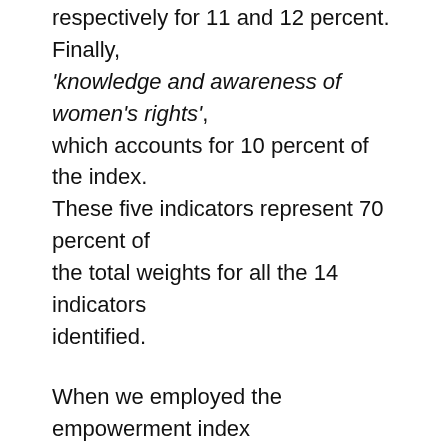respectively for 11 and 12 percent. Finally, 'knowledge and awareness of women's rights', which accounts for 10 percent of the index. These five indicators represent 70 percent of the total weights for all the 14 indicators identified.
When we employed the empowerment index using the weighting from the DCE for the impact evaluation, we found that the average weighted empowerment index is reduced for both the intervention and comparison groups, compared with the un-weighted empowerment index. However, in both cases, the difference between the intervention and comparison groups is statistically significant.